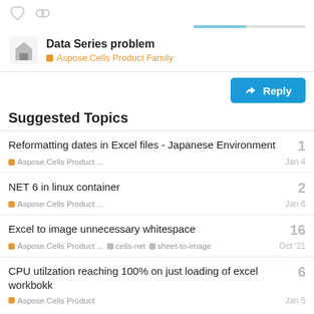Data Series problem
Aspose.Cells Product Family
Suggested Topics
Reformatting dates in Excel files - Japanese Environment
Aspose.Cells Product ...
1
Jan 4
NET 6 in linux container
Aspose.Cells Product ...
2
Jan 6
Excel to image unnecessary whitespace
Aspose.Cells Product ... cells-net sheet-to-image
16
Oct '21
CPU utilzation reaching 100% on just loading of excel workbokk
Aspose.Cells Product
6
Jan 5